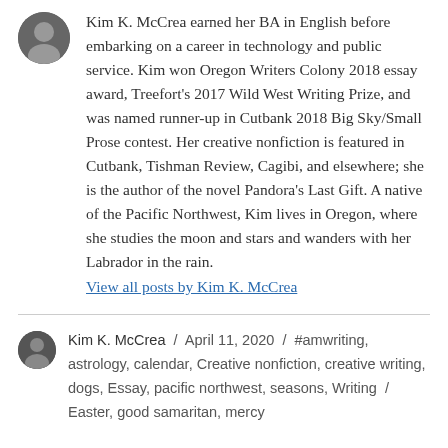Kim K. McCrea earned her BA in English before embarking on a career in technology and public service. Kim won Oregon Writers Colony 2018 essay award, Treefort's 2017 Wild West Writing Prize, and was named runner-up in Cutbank 2018 Big Sky/Small Prose contest. Her creative nonfiction is featured in Cutbank, Tishman Review, Cagibi, and elsewhere; she is the author of the novel Pandora's Last Gift. A native of the Pacific Northwest, Kim lives in Oregon, where she studies the moon and stars and wanders with her Labrador in the rain.
View all posts by Kim K. McCrea
Kim K. McCrea / April 11, 2020 / #amwriting, astrology, calendar, Creative nonfiction, creative writing, dogs, Essay, pacific northwest, seasons, Writing / Easter, good samaritan, mercy